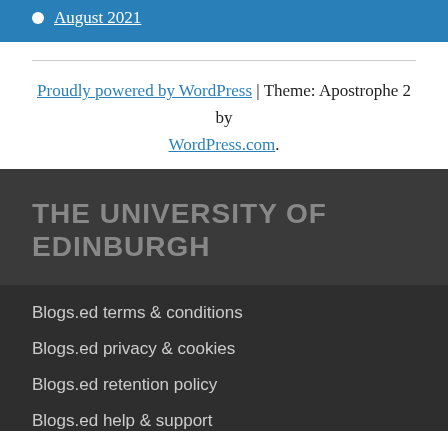August 2021
Proudly powered by WordPress | Theme: Apostrophe 2 by WordPress.com.
THE UNIVERSITY OF EDINBURGH
Blogs.ed terms & conditions
Blogs.ed privacy & cookies
Blogs.ed retention policy
Blogs.ed help & support